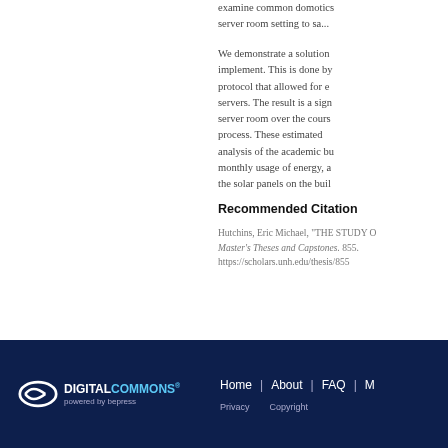examine common domotics server room setting to sa...
We demonstrate a solution implement. This is done by protocol that allowed for e servers. The result is a sign server room over the cours process. These estimated analysis of the academic bu monthly usage of energy, a the solar panels on the bui...
Recommended Citation
Hutchins, Eric Michael, "THE STUDY O... Master's Theses and Capstones. 855. https://scholars.unh.edu/thesis/855
[Figure (logo): Digital Commons powered by bepress logo in white and light blue on dark navy background]
Home | About | FAQ | M... Privacy  Copyright